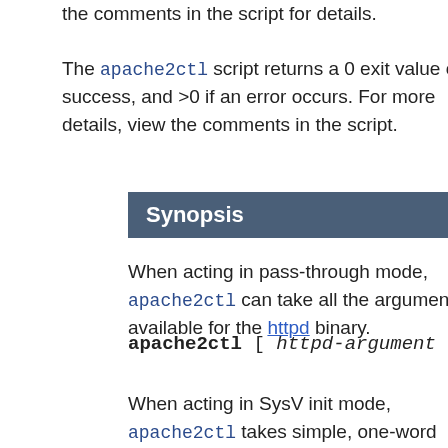the comments in the script for details.
The apache2ctl script returns a 0 exit value on success, and >0 if an error occurs. For more details, view the comments in the script.
Synopsis
When acting in pass-through mode, apache2ctl can take all the arguments available for the httpd binary.
When acting in SysV init mode, apache2ctl takes simple, one-word commands, defined below.